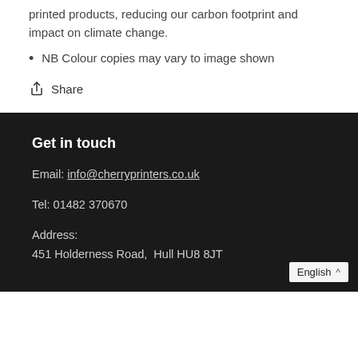printed products, reducing our carbon footprint and impact on climate change.
NB Colour copies may vary to image shown
Share
Get in touch
Email: info@cherryprinters.co.uk
Tel: 01482 370670
Address:
451 Holderness Road,  Hull HU8 8JT